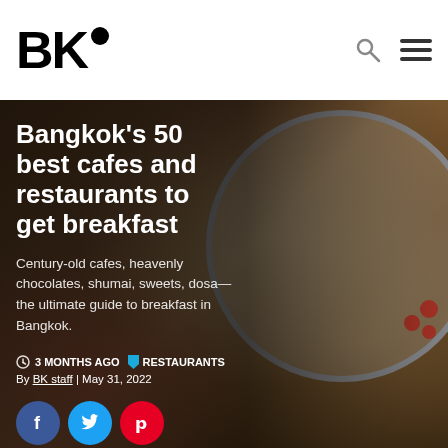BK●
[Figure (photo): Food photo background showing a decorative plate with food arranged to spell letters, surrounded by tomatoes, peppers, lemons and other food items on a wooden surface]
Bangkok's 50 best cafes and restaurants to get breakfast
Century-old cafes, heavenly chocolates, shumai, sweets, dosa—the ultimate guide to breakfast in Bangkok.
3 MONTHS AGO  RESTAURANTS
By BK staff | May 31, 2022
[Figure (other): Social sharing buttons: Facebook (blue), Twitter (light blue), Pinterest (red)]